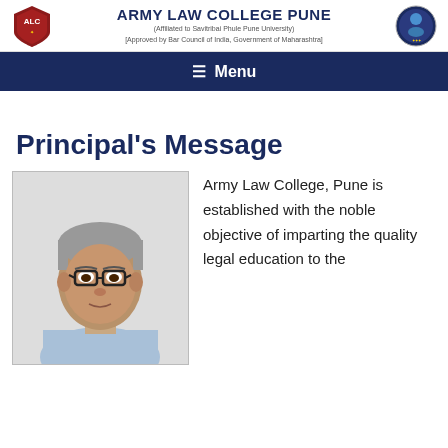ARMY LAW COLLEGE PUNE
(Affiliated to Savitribai Phule Pune University)
[Approved by Bar Council of India, Government of Maharashtra]
≡ Menu
Principal's Message
[Figure (photo): Portrait photo of the Principal, a middle-aged man with grey hair and glasses, wearing a light blue shirt, shown from shoulders up against a white background, inside a bordered rectangle.]
Army Law College, Pune is established with the noble objective of imparting the quality legal education to the